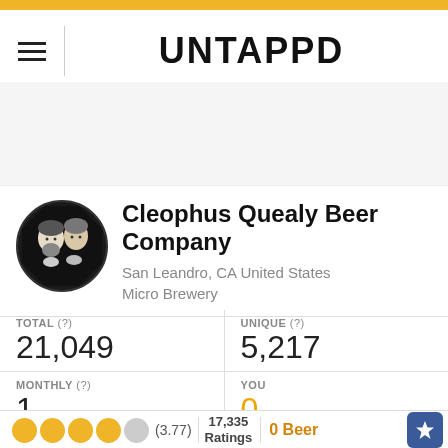UNTAPPD
[Figure (logo): Untappd app header with hamburger menu and UNTAPPD logo]
[Figure (illustration): Cleophus Quealy Beer Company circular brewery logo showing two portrait illustrations in black and white]
Cleophus Quealy Beer Company
San Leandro, CA United States
Micro Brewery
| TOTAL (?) | UNIQUE (?) |
| --- | --- |
| 21,049 | 5,217 |
| MONTHLY (?) | YOU |
| --- | --- |
| 1 | 0 |
●●●●○ (3.77)  17,335 Ratings  0 Beer  ★